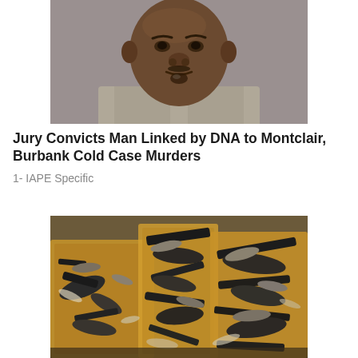[Figure (photo): Mugshot of a middle-aged Black man with a goatee, wearing a light gray/tan jacket, looking directly at camera against a gray background]
Jury Convicts Man Linked by DNA to Montclair, Burbank Cold Case Murders
1- IAPE Specific
[Figure (photo): Boxes and piles of damaged, charred, and recovered firearm parts and gun components heaped together in cardboard boxes]